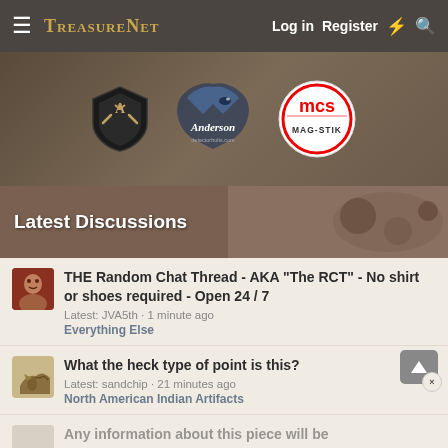TreasureNet  Log in  Register
[Figure (illustration): Banner advertisement showing three logos: a black shield with trident (Anderson Detectorholts), Anderson shark logo with script text, and Mag-Stik circular logo with red lettering]
Latest Discussions
THE Random Chat Thread - AKA "The RCT" - No shirt or shoes required - Open 24 / 7
Latest: JVA5th · 1 minute ago
Everything Else
What the heck type of point is this?
Latest: sandchip · 21 minutes ago
North American Indian Artifacts
Any information about this piece will be